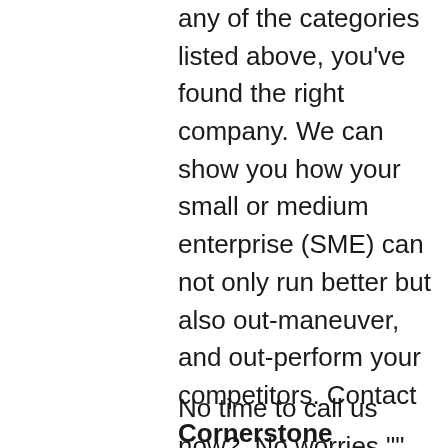any of the categories listed above, you've found the right company. We can show you how your small or medium enterprise (SME) can not only run better but also out-maneuver, and out-perform your competitors. Contact Cornerstone Consulting by calling 813-321-1300.
No time to call us now?  No worries "" we know you're busy. Feel free to complete the brief form within the Contact Us page, and let us know a good time to contact you in the near future. We'll touch base with you when it's convenient for your schedule